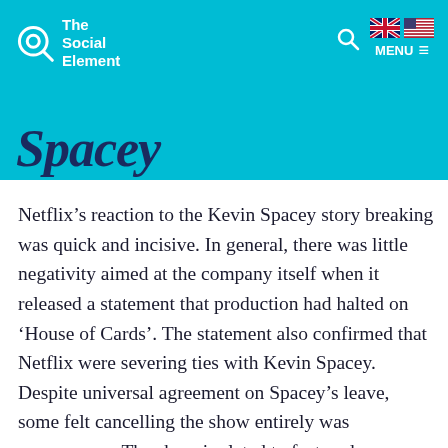The Social Element — MENU
Spacey
Netflix's reaction to the Kevin Spacey story breaking was quick and incisive. In general, there was little negativity aimed at the company itself when it released a statement that production had halted on 'House of Cards'. The statement also confirmed that Netflix were severing ties with Kevin Spacey. Despite universal agreement on Spacey's leave, some felt cancelling the show entirely was unnecessary. The show is slated to featured a very strong female lead to fill the void of his immediate departure: